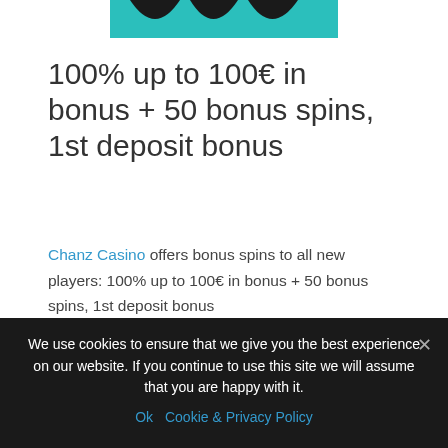[Figure (logo): Chanz Casino teal decorative logo top strip with arch/wave pattern]
100% up to 100€ in bonus + 50 bonus spins, 1st deposit bonus
Chanz Casino offers bonus spins to all new players: 100% up to 100€ in bonus + 50 bonus spins, 1st deposit bonus
Bonus code: CHANZ1
We use cookies to ensure that we give you the best experience on our website. If you continue to use this site we will assume that you are happy with it. Ok Cookie & Privacy Policy